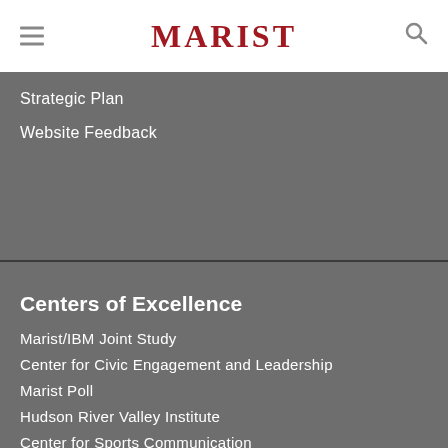MARIST
Strategic Plan
Website Feedback
Centers of Excellence
Marist/IBM Joint Study
Center for Civic Engagement and Leadership
Marist Poll
Hudson River Valley Institute
Center for Sports Communication